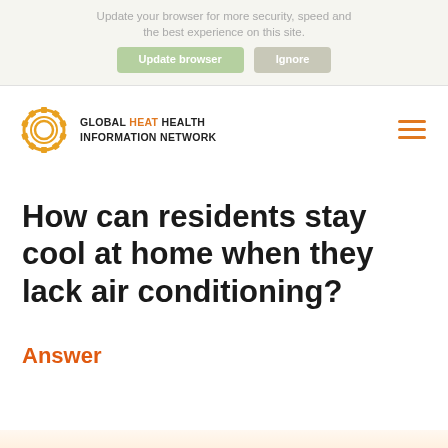Update your browser for more security, speed and the best experience on this site.
[Figure (logo): Global Heat Health Information Network logo — sun gear icon with organization name]
How can residents stay cool at home when they lack air conditioning?
Answer